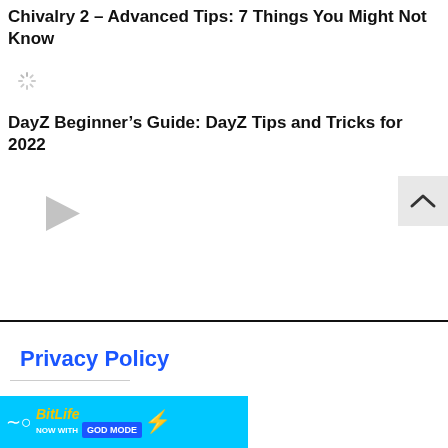Chivalry 2 – Advanced Tips: 7 Things You Might Not Know
[Figure (illustration): Loading spinner icon]
DayZ Beginner's Guide: DayZ Tips and Tricks for 2022
[Figure (illustration): Scroll-to-top button with chevron up arrow]
[Figure (illustration): Video play button circle]
[Figure (screenshot): Video overlay showing MW logo on pink background and a creepy character, with text BEST RETRO SWITCH GAMES]
Privacy Policy
[Figure (photo): BitLife advertisement banner: NOW WITH GOD MODE in blue and yellow]
[Figure (illustration): Close button X circle]